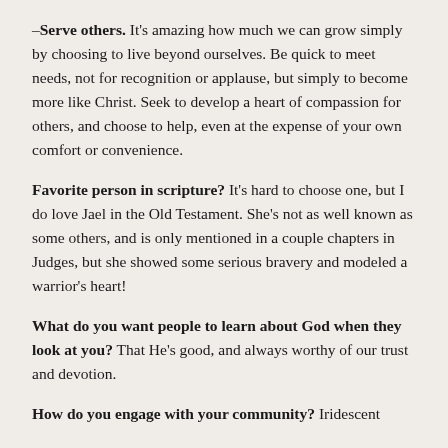–Serve others. It's amazing how much we can grow simply by choosing to live beyond ourselves. Be quick to meet needs, not for recognition or applause, but simply to become more like Christ. Seek to develop a heart of compassion for others, and choose to help, even at the expense of your own comfort or convenience.
Favorite person in scripture? It's hard to choose one, but I do love Jael in the Old Testament. She's not as well known as some others, and is only mentioned in a couple chapters in Judges, but she showed some serious bravery and modeled a warrior's heart!
What do you want people to learn about God when they look at you? That He's good, and always worthy of our trust and devotion.
How do you engage with your community? Iridescent